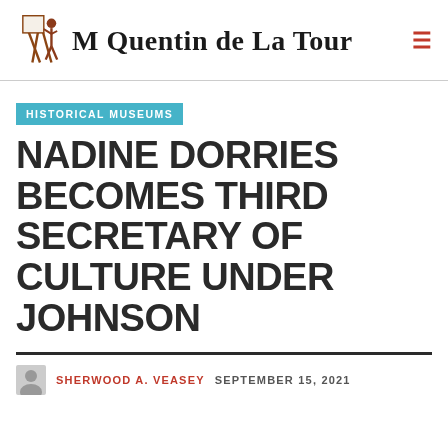M Quentin de La Tour
HISTORICAL MUSEUMS
NADINE DORRIES BECOMES THIRD SECRETARY OF CULTURE UNDER JOHNSON
SHERWOOD A. VEASEY  SEPTEMBER 15, 2021